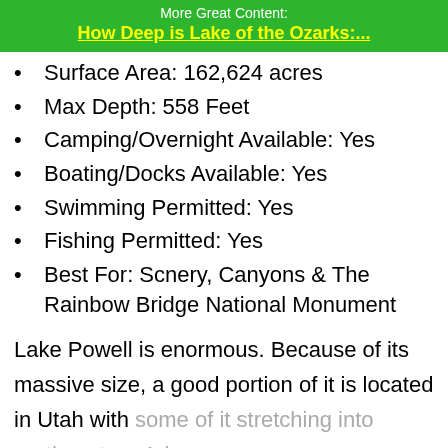More Great Content:
How Deep is Lake of the Ozarks:...
Surface Area: 162,624 acres
Max Depth: 558 Feet
Camping/Overnight Available: Yes
Boating/Docks Available: Yes
Swimming Permitted: Yes
Fishing Permitted: Yes
Best For: Scnery, Canyons & The Rainbow Bridge National Monument
Lake Powell is enormous. Because of its massive size, a good portion of it is located in Utah with some of it stretching into northeastern Arizona.
It's a unique body of water that essentially fills up